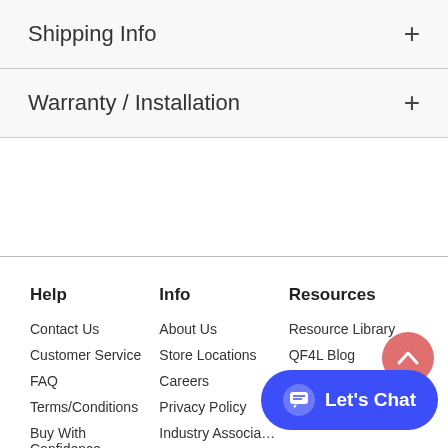Shipping Info
Warranty / Installation
Help
Contact Us
Customer Service
FAQ
Terms/Conditions
Buy With Confidence
Info
About Us
Store Locations
Careers
Privacy Policy
Industry Associa…
Resources
Resource Library
QF4L Blog
Builder/Contractor
Let's Chat